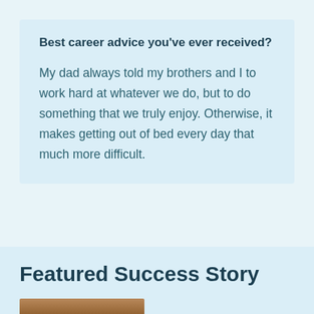Best career advice you've ever received?
My dad always told my brothers and I to work hard at whatever we do, but to do something that we truly enjoy. Otherwise, it makes getting out of bed every day that much more difficult.
Featured Success Story
[Figure (photo): Partial photo of a person, cropped at bottom of page]